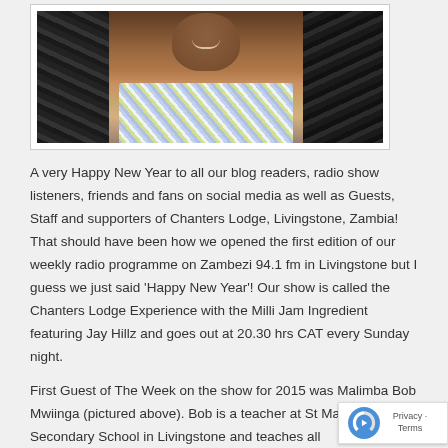[Figure (photo): Portrait photo of a smiling man wearing a blue and yellow plaid shirt, seated in front of a dark patterned background]
A very Happy New Year to all our blog readers, radio show listeners, friends and fans on social media as well as Guests, Staff and supporters of Chanters Lodge, Livingstone, Zambia! That should have been how we opened the first edition of our weekly radio programme on Zambezi 94.1 fm in Livingstone but I guess we just said 'Happy New Year'! Our show is called the Chanters Lodge Experience with the Milli Jam Ingredient featuring Jay Hillz and goes out at 20.30 hrs CAT every Sunday night.
First Guest of The Week on the show for 2015 was Malimba Bob Mwiinga (pictured above). Bob is a teacher at St Mary Girls Secondary School in Livingstone and teaches all